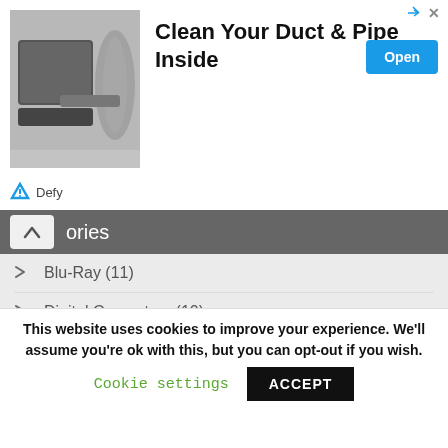[Figure (screenshot): Advertisement banner for 'Clean Your Duct & Pipe Inside' by Defy, with a photo of a duct cleaning tool, Open button, and ad corner icons]
ories
Blu-Ray (11)
Digital Converters (10)
DVD Players (18)
Fix Remote (23)
How-Tos (315)
Sound Bars (18)
TVs (322)
This website uses cookies to improve your experience. We'll assume you're ok with this, but you can opt-out if you wish. Cookie settings ACCEPT